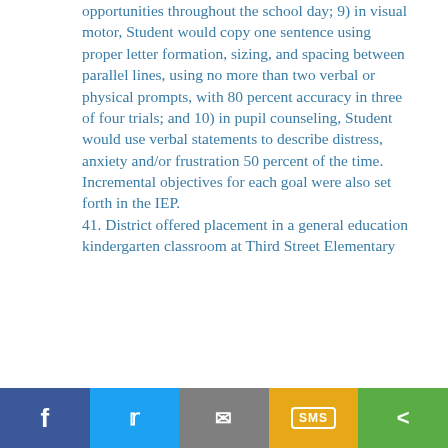opportunities throughout the school day; 9) in visual motor, Student would copy one sentence using proper letter formation, sizing, and spacing between parallel lines, using no more than two verbal or physical prompts, with 80 percent accuracy in three of four trials; and 10) in pupil counseling, Student would use verbal statements to describe distress, anxiety and/or frustration 50 percent of the time. Incremental objectives for each goal were also set forth in the IEP.
41. District offered placement in a general education kindergarten classroom at Third Street Elementary